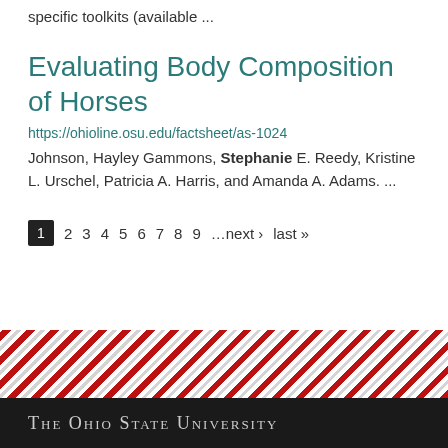specific toolkits (available ...
Evaluating Body Composition of Horses
https://ohioline.osu.edu/factsheet/as-1024
Johnson, Hayley Gammons, Stephanie E. Reedy, Kristine L. Urschel, Patricia A. Harris, and Amanda A. Adams. ...
1 2 3 4 5 6 7 8 9 …next › last »
The Ohio State University